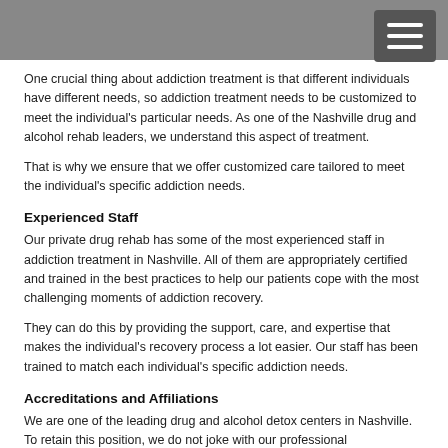One crucial thing about addiction treatment is that different individuals have different needs, so addiction treatment needs to be customized to meet the individual's particular needs. As one of the Nashville drug and alcohol rehab leaders, we understand this aspect of treatment.
That is why we ensure that we offer customized care tailored to meet the individual's specific addiction needs.
Experienced Staff
Our private drug rehab has some of the most experienced staff in addiction treatment in Nashville. All of them are appropriately certified and trained in the best practices to help our patients cope with the most challenging moments of addiction recovery.
They can do this by providing the support, care, and expertise that makes the individual's recovery process a lot easier. Our staff has been trained to match each individual's specific addiction needs.
Accreditations and Affiliations
We are one of the leading drug and alcohol detox centers in Nashville. To retain this position, we do not joke with our professional accreditations. We have accreditation from some of the best…